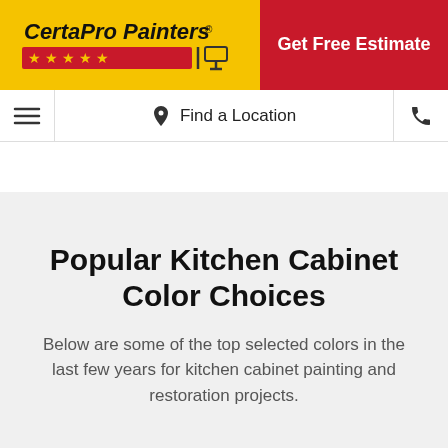[Figure (logo): CertaPro Painters logo on yellow background with red stars and painter icon]
Get Free Estimate
Find a Location
Popular Kitchen Cabinet Color Choices
Below are some of the top selected colors in the last few years for kitchen cabinet painting and restoration projects.